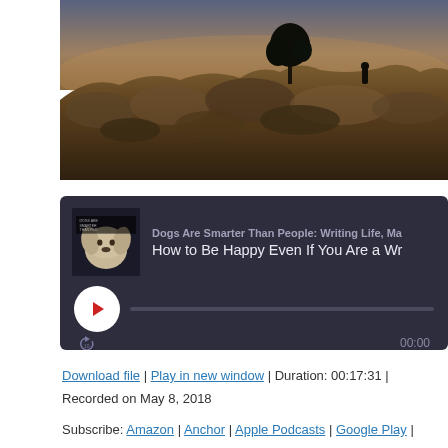[Figure (photo): Landscape photo showing a person silhouetted on a rocky hilltop at dusk with a lone tree visible against a purple-blue sky]
[Figure (screenshot): Podcast audio player widget with dark background showing episode 'Dogs Are Smarter Than People: Writing Life, Ma...' and episode title 'How to Be Happy Even If You Are a Wr...' with play button and progress bar showing 00:00]
Download file | Play in new window | Duration: 00:17:31 |
Recorded on May 8, 2018
Subscribe: Amazon | Anchor | Apple Podcasts | Google Play |